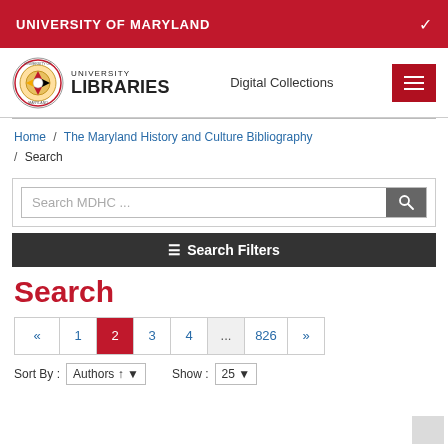UNIVERSITY OF MARYLAND
[Figure (logo): University of Maryland Libraries logo with circular seal and text UNIVERSITY LIBRARIES]
Digital Collections
Home / The Maryland History and Culture Bibliography / Search
Search MDHC ...
≡ Search Filters
Search
« 1 2 3 4 ... 826 »
Sort By : Authors ↑ ▼   Show : 25 ▼